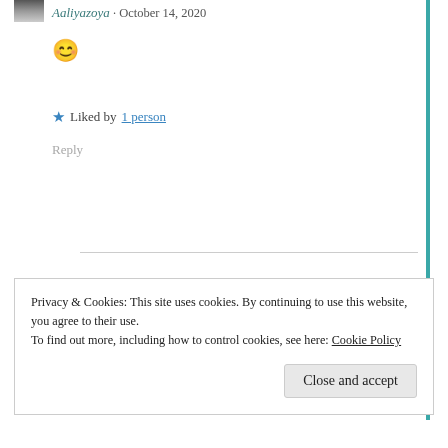[Figure (photo): Small avatar thumbnail showing a dark image]
Aaliyazoya · October 14, 2020
😊
★ Liked by 1 person
Reply
Privacy & Cookies: This site uses cookies. By continuing to use this website, you agree to their use.
To find out more, including how to control cookies, see here: Cookie Policy
Close and accept